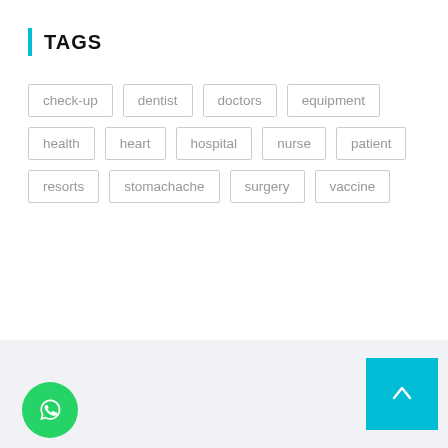TAGS
check-up
dentist
doctors
equipment
health
heart
hospital
nurse
patient
resorts
stomachache
surgery
vaccine
[Figure (illustration): WhatsApp contact button (green circle with phone handset icon) and scroll-to-top button (cyan square with upward arrow)]